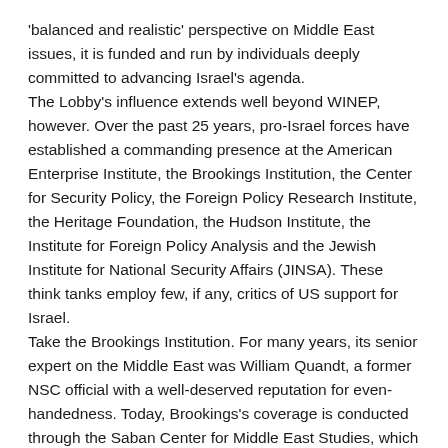'balanced and realistic' perspective on Middle East issues, it is funded and run by individuals deeply committed to advancing Israel's agenda. The Lobby's influence extends well beyond WINEP, however. Over the past 25 years, pro-Israel forces have established a commanding presence at the American Enterprise Institute, the Brookings Institution, the Center for Security Policy, the Foreign Policy Research Institute, the Heritage Foundation, the Hudson Institute, the Institute for Foreign Policy Analysis and the Jewish Institute for National Security Affairs (JINSA). These think tanks employ few, if any, critics of US support for Israel. Take the Brookings Institution. For many years, its senior expert on the Middle East was William Quandt, a former NSC official with a well-deserved reputation for even-handedness. Today, Brookings's coverage is conducted through the Saban Center for Middle East Studies, which is financed by Haim Saban, an Israeli-American businessman and ardent Zionist. The concluding text in the original is